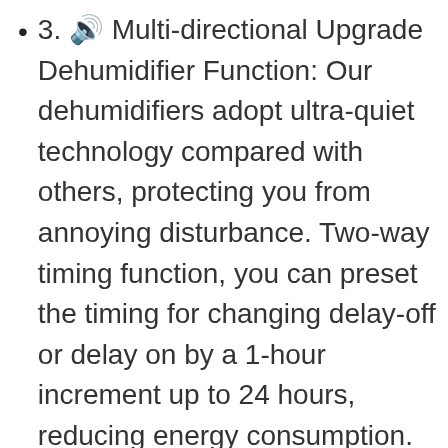3. 🔊 Multi-directional Upgrade Dehumidifier Function: Our dehumidifiers adopt ultra-quiet technology compared with others, protecting you from annoying disturbance. Two-way timing function, you can preset the timing for changing delay-off or delay on by a 1-hour increment up to 24 hours, reducing energy consumption. Four dehumidification modes: Normal dehumidification; Continuous dehumidification; Ventilation; Dry Clothes modes with